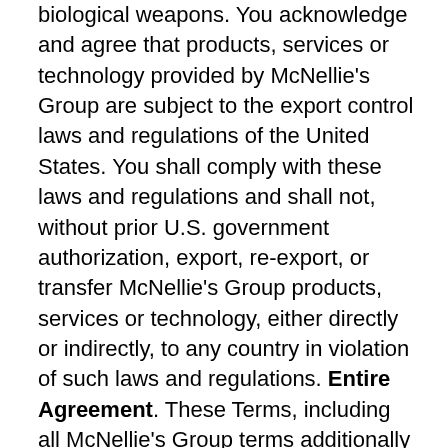biological weapons. You acknowledge and agree that products, services or technology provided by McNellie's Group are subject to the export control laws and regulations of the United States. You shall comply with these laws and regulations and shall not, without prior U.S. government authorization, export, re-export, or transfer McNellie's Group products, services or technology, either directly or indirectly, to any country in violation of such laws and regulations. Entire Agreement. These Terms, including all McNellie's Group terms additionally offered in connection with Rewards Opportunities, Merchant Products, and other Merchant Terms, comprise the entire agreement between the Parties and supersedes all prior or contemporaneous agreements, written or oral, between the Parties regarding the subject matter contained herein.